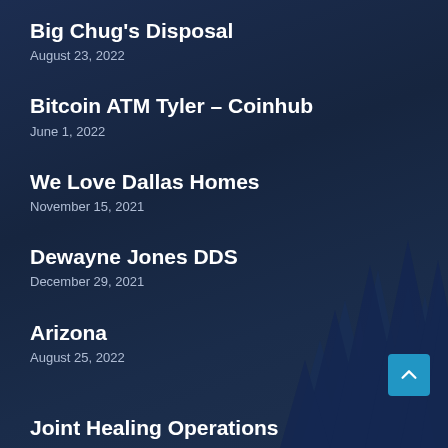Big Chug's Disposal
August 23, 2022
Bitcoin ATM Tyler – Coinhub
June 1, 2022
We Love Dallas Homes
November 15, 2021
Dewayne Jones DDS
December 29, 2021
Arizona
August 25, 2022
Joint Healing Operations